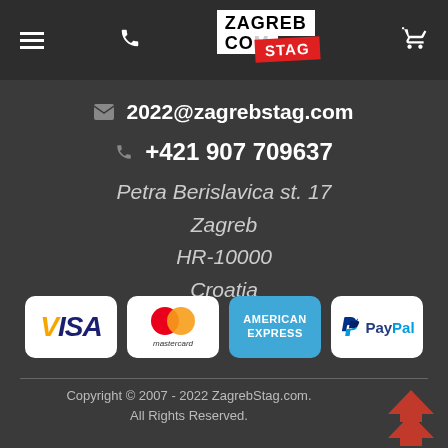Zagreb Stag website header with menu, phone, logo, and cart icons
2022@zagrebstag.com
+421 907 709637
Petra Berislavica st. 17
Zagreb
HR-10000
Croatia
[Figure (logo): Payment method logos: Visa, Mastercard, American Express, PayPal]
Copyright © 2007 - 2022 ZagrebStag.com. All Rights Reserved.